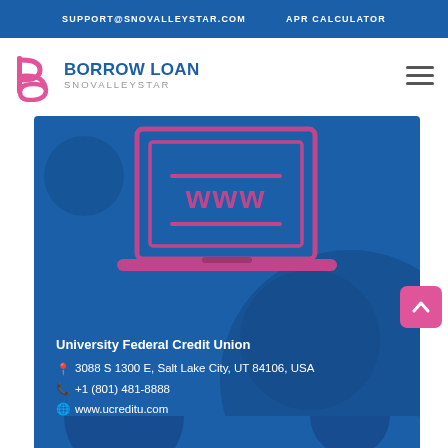SUPPORT@SNOVALLEYSTAR.COM   APR CALCULATOR
[Figure (logo): Borrow Loan SnovalleyStar logo with stylized 'b' letterform in pink/magenta]
[Figure (infographic): Blue card showing laptop icon with WWW text, University Federal Credit Union contact info: 3088 S 1300 E, Salt Lake City, UT 84106, USA; +1 (801) 481-8888; www.ucreditu.com]
University Federal Credit Union
3088 S 1300 E, Salt Lake City, UT 84106, USA
+1 (801) 481-8888
www.ucreditu.com